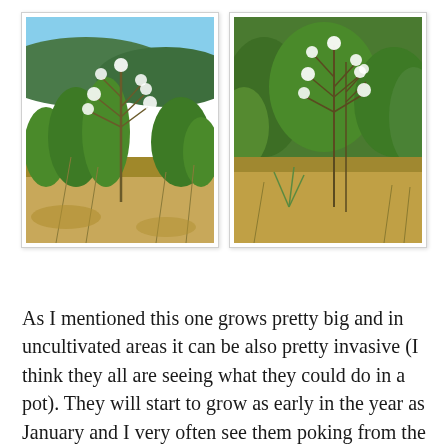[Figure (photo): Two side-by-side photographs of a tall flowering plant (possibly asparagus or similar species) with white feathery flowers/seeds on tall stalks, growing in a scrubby, semi-arid landscape with green shrubs and dry grass.]
As I mentioned this one grows pretty big and in uncultivated areas it can be also pretty invasive (I think they all are seeing what they could do in a pot). They will start to grow as early in the year as January and I very often see them poking from the soil and was wandering what it was. Around